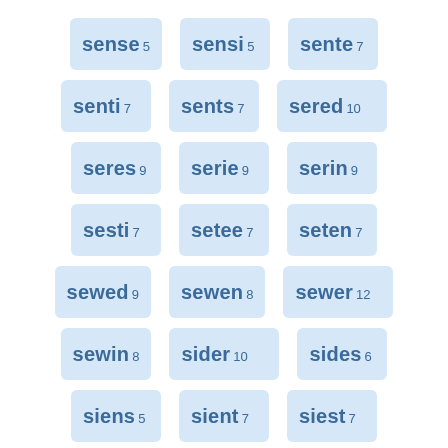sense 5
sensi 5
sente 7
senti 7
sents 7
sered 10
seres 9
serie 9
serin 9
sesti 7
setee 7
seten 7
sewed 9
sewen 8
sewer 12
sewin 8
sider 10
sides 6
siens 5
sient 7
siest 7